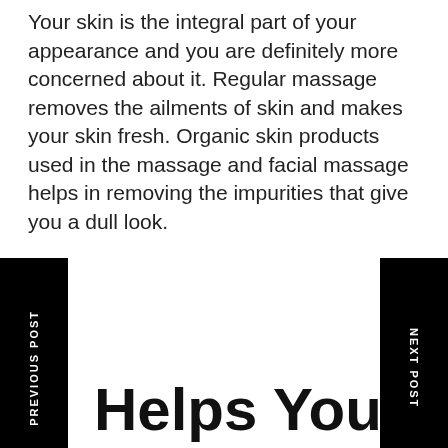Your skin is the integral part of your appearance and you are definitely more concerned about it. Regular massage removes the ailments of skin and makes your skin fresh. Organic skin products used in the massage and facial massage helps in removing the impurities that give you a dull look.
Helps You To Move Freely
ness in your body stops it to move freely and massage therapy helps in making your body relax and more mobile. When the tension between the muscles and joints is decreased you can easily move.